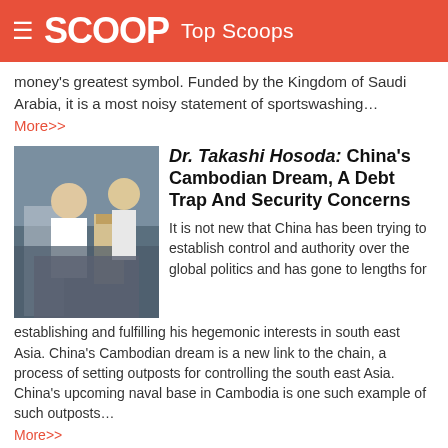SCOOP Top Scoops
money's greatest symbol. Funded by the Kingdom of Saudi Arabia, it is a most noisy statement of sportswashing… More>>
Dr. Takashi Hosoda: China's Cambodian Dream, A Debt Trap And Security Concerns
It is not new that China has been trying to establish control and authority over the global politics and has gone to lengths for establishing and fulfilling his hegemonic interests in south east Asia. China's Cambodian dream is a new link to the chain, a process of setting outposts for controlling the south east Asia. China's upcoming naval base in Cambodia is one such example of such outposts… More>>
Ian Powell: Colossal 'Porkies' And Band-aids Don't Make A